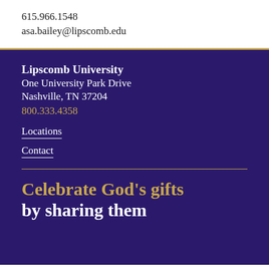615.966.1548
asa.bailey@lipscomb.edu
Lipscomb University
One University Park Drive
Nashville, TN 37204
800.333.4358
Locations
Contact
Celebrate God's gifts by sharing them